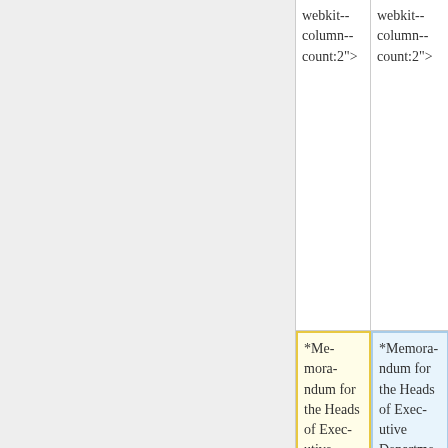|  |  |
| --- | --- |
| webk
it-
colu
mn-
count
:2"> | webk
it-
colu
mn-
count
:2"> |
| *Me
mora
ndum
for
the
Head
s of
Exec
utive
Depa
rtme
nts
and | *Me
mora
ndum
for
the
Head
s of
Exec
utive
Depa
rtme
nts
and |